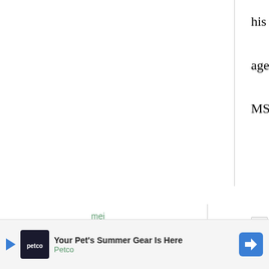his food. Good aged miso needs no MSG.
mei
8 January, 2011 - 16:02
permalink
Re: Miso Basics: A Japanese miso primer, looking at ...
Hi Maki, I've a tub of □
[Figure (other): Petco advertisement banner: Your Pet's Summer Gear Is Here, Petco]